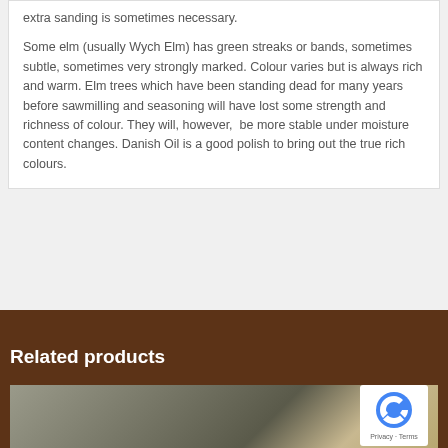extra sanding is sometimes necessary.
Some elm (usually Wych Elm) has green streaks or bands, sometimes subtle, sometimes very strongly marked. Colour varies but is always rich and warm. Elm trees which have been standing dead for many years before sawmilling and seasoning will have lost some strength and richness of colour. They will, however,  be more stable under moisture content changes. Danish Oil is a good polish to bring out the true rich colours.
Related products
[Figure (photo): Product photo showing a natural outdoor ground surface with gravel/stones and some vegetation, partially cut off at bottom of page]